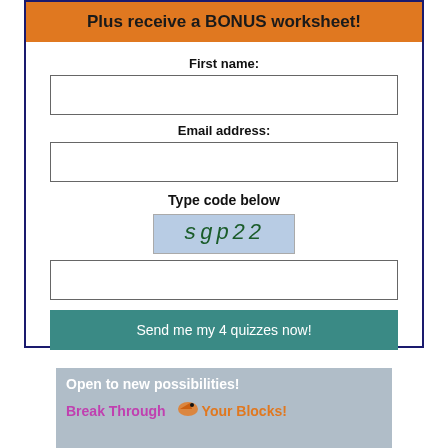[Figure (infographic): Orange banner strip with bold text: Plus receive a BONUS worksheet!]
First name:
Email address:
Type code below
[Figure (other): CAPTCHA image showing text 'sgp22' on a blue marbled background]
[Figure (infographic): Blue-grey banner with text: Open to new possibilities! Break Through [bird icon] Your Blocks!]